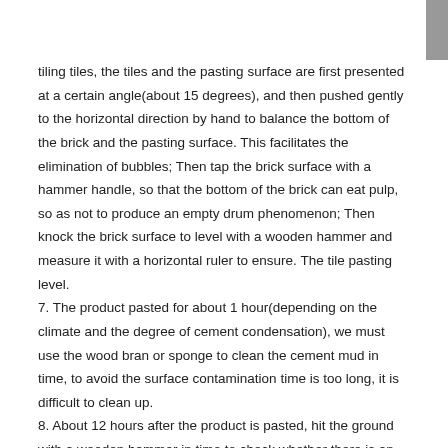tiling tiles, the tiles and the pasting surface are first presented at a certain angle(about 15 degrees), and then pushed gently to the horizontal direction by hand to balance the bottom of the brick and the pasting surface. This facilitates the elimination of bubbles; Then tap the brick surface with a hammer handle, so that the bottom of the brick can eat pulp, so as not to produce an empty drum phenomenon; Then knock the brick surface to level with a wooden hammer and measure it with a horizontal ruler to ensure. The tile pasting level.
7. The product pasted for about 1 hour(depending on the climate and the degree of cement condensation), we must use the wood bran or sponge to clean the cement mud in time, to avoid the surface contamination time is too long, it is difficult to clean up.
8. About 12 hours after the product is pasted, hit the ground with a wooden hammer in time to check whether there is an empty drum phenomenon. All brickwork should be done in time to remove the